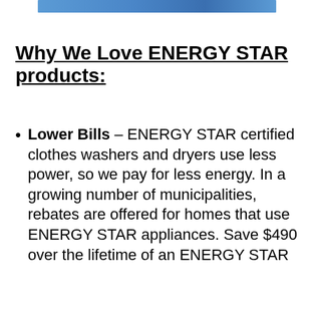[Figure (photo): Partial image of clothes washer/dryer or ENERGY STAR product at top of page]
Why We Love ENERGY STAR products:
Lower Bills – ENERGY STAR certified clothes washers and dryers use less power, so we pay for less energy. In a growing number of municipalities, rebates are offered for homes that use ENERGY STAR appliances. Save $490 over the lifetime of an ENERGY STAR